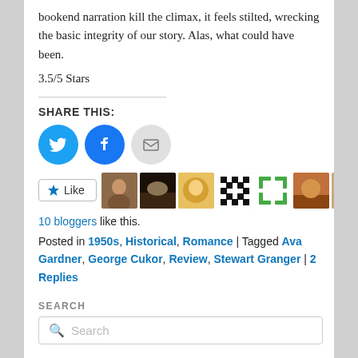bookend narration kill the climax, it feels stilted, wrecking the basic integrity of our story. Alas, what could have been.
3.5/5 Stars
SHARE THIS:
[Figure (infographic): Three social share buttons: Twitter (blue circle with bird icon), Facebook (blue circle with f icon), Email (grey circle with envelope icon)]
[Figure (infographic): Like button with star icon and eight blogger avatar thumbnails]
10 bloggers like this.
Posted in 1950s, Historical, Romance | Tagged Ava Gardner, George Cukor, Review, Stewart Granger | 2 Replies
SEARCH
[Figure (other): Search input box with magnifying glass icon and placeholder text 'Search']